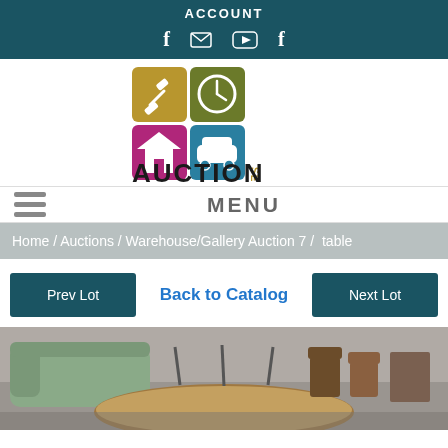ACCOUNT
[Figure (logo): Auction Services Ltd logo with four colored squares (gold/gavel, olive/clock, magenta/house, teal/car) and vertical text 'SERVICES LTD', below reads 'AUCTION' in bold]
MENU
Home / Auctions / Warehouse/Gallery Auction 7 / table
Prev Lot | Back to Catalog | Next Lot
[Figure (photo): Auction room photo showing a round wooden table in foreground, a green upholstered sofa/settee on the left, and wooden chairs in the background]